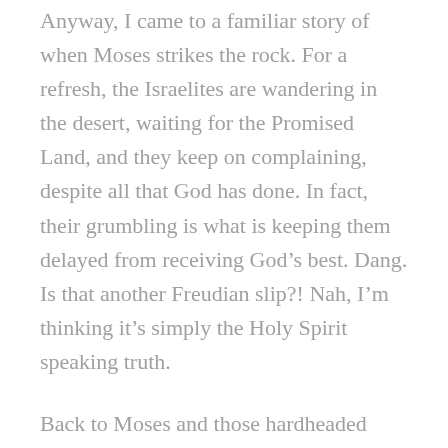Anyway, I came to a familiar story of when Moses strikes the rock. For a refresh, the Israelites are wandering in the desert, waiting for the Promised Land, and they keep on complaining, despite all that God has done. In fact, their grumbling is what is keeping them delayed from receiving God's best. Dang. Is that another Freudian slip?! Nah, I'm thinking it's simply the Holy Spirit speaking truth.
Back to Moses and those hardheaded Israelites. They come to a place without water. They're thirsty. They complain. Moses and Aaron ask God for help with this situation, and He tells Moses to speak to a rock and water will flow from it. So Moses gathers everyone together, and then he proceeds to smack the rock a couple of times. Water comes out,